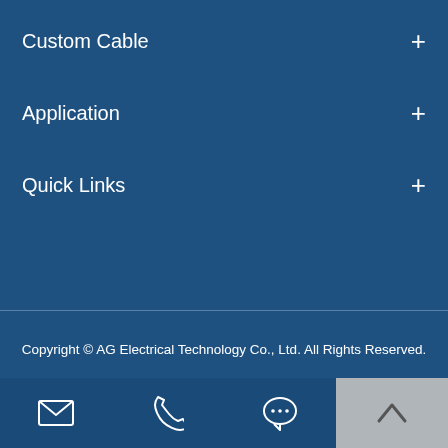Custom Cable +
Application +
Quick Links +
Copyright © AG Electrical Technology Co., Ltd. All Rights Reserved. Sitemap | Privacy Policy
[Figure (illustration): Social media icons: Facebook, Twitter, Pinterest, LinkedIn in circles]
[Figure (illustration): Bottom navigation bar with email, phone, chat icons and a back-to-top arrow]